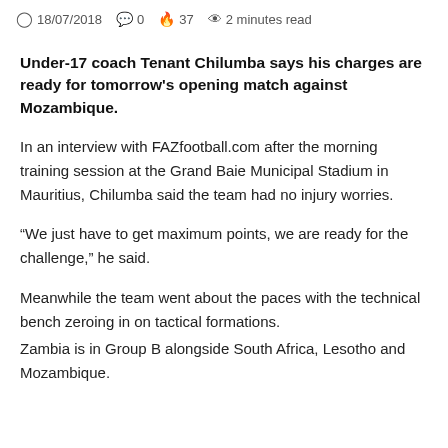18/07/2018  0  37  2 minutes read
Under-17 coach Tenant Chilumba says his charges are ready for tomorrow's opening match against Mozambique.
In an interview with FAZfootball.com after the morning training session at the Grand Baie Municipal Stadium in Mauritius, Chilumba said the team had no injury worries.
“We just have to get maximum points, we are ready for the challenge,” he said.
Meanwhile the team went about the paces with the technical bench zeroing in on tactical formations.
Zambia is in Group B alongside South Africa, Lesotho and Mozambique.